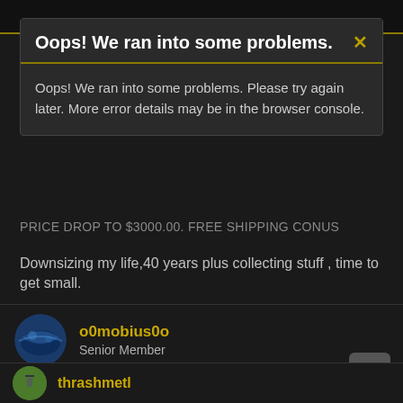[Figure (screenshot): Dark navigation bar at top of page]
Oops! We ran into some problems.
Oops! We ran into some problems. Please try again later. More error details may be in the browser console.
PRICE DROP TO $3000.00. FREE SHIPPING CONUS
Downsizing my life,40 years plus collecting stuff , time to get small.
o0mobius0o
Senior Member
Aug 15, 2016
#9,887
Good job, BGD.
thrashmetl